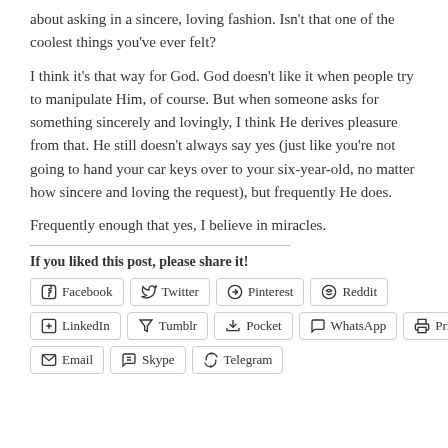about asking in a sincere, loving fashion. Isn't that one of the coolest things you've ever felt?
I think it's that way for God. God doesn't like it when people try to manipulate Him, of course. But when someone asks for something sincerely and lovingly, I think He derives pleasure from that. He still doesn't always say yes (just like you're not going to hand your car keys over to your six-year-old, no matter how sincere and loving the request), but frequently He does.
Frequently enough that yes, I believe in miracles.
If you liked this post, please share it!
[Figure (other): Social share buttons: Facebook, Twitter, Pinterest, Reddit, LinkedIn, Tumblr, Pocket, WhatsApp, Print, Email, Skype, Telegram]